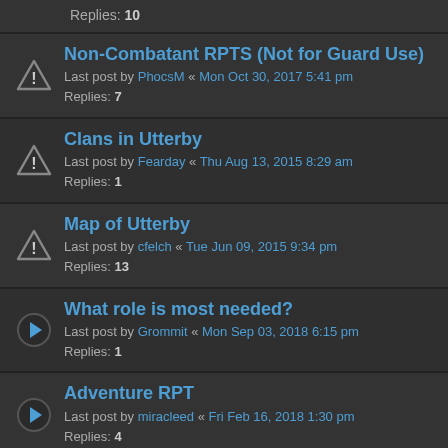Replies: 10
Non-Combatant RPTS (Not for Guard Use)
Last post by PhocsM « Mon Oct 30, 2017 5:41 pm
Replies: 7
Clans in Utterby
Last post by Fearday « Thu Aug 13, 2015 8:29 am
Replies: 1
Map of Utterby
Last post by cfelch « Tue Jun 09, 2015 9:34 pm
Replies: 13
What role is most needed?
Last post by Grommit « Mon Sep 03, 2018 6:15 pm
Replies: 1
Adventure RPT
Last post by miracleed « Fri Feb 16, 2018 1:30 pm
Replies: 4
Update of Availability
Last post by Faroukel « Mon Dec 18, 2017 9:34 am
Replies: 2
Foraged Findings and You